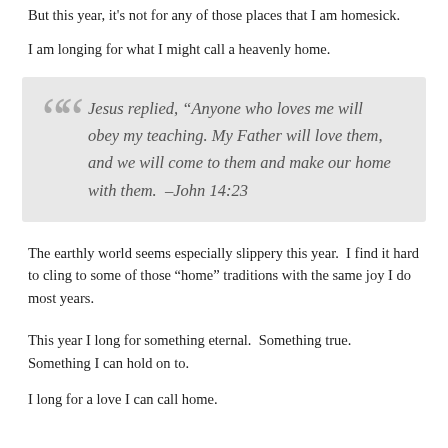But this year, it's not for any of those places that I am homesick.
I am longing for what I might call a heavenly home.
Jesus replied, “Anyone who loves me will obey my teaching. My Father will love them, and we will come to them and make our home with them.  –John 14:23
The earthly world seems especially slippery this year.  I find it hard to cling to some of those “home” traditions with the same joy I do most years.
This year I long for something eternal.  Something true.  Something I can hold on to.
I long for a love I can call home.